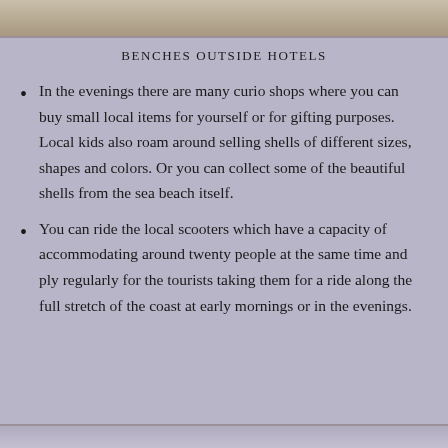[Figure (photo): Partial photo strip at the top of the page, showing an outdoor scene near hotels]
BENCHES OUTSIDE HOTELS
In the evenings there are many curio shops where you can buy small local items for yourself or for gifting purposes. Local kids also roam around selling shells of different sizes, shapes and colors. Or you can collect some of the beautiful shells from the sea beach itself.
You can ride the local scooters which have a capacity of accommodating around twenty people at the same time and ply regularly for the tourists taking them for a ride along the full stretch of the coast at early mornings or in the evenings.
[Figure (photo): Partial photo strip at the bottom of the page]